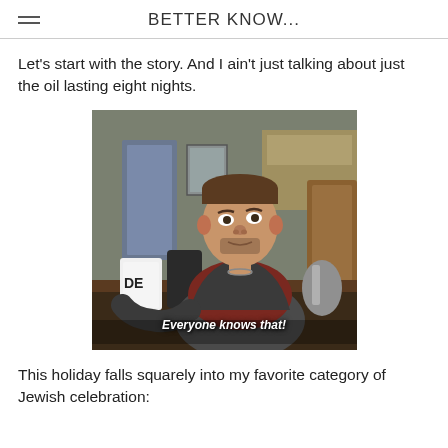BETTER KNOW...
Let's start with the story. And I ain't just talking about just the oil lasting eight nights.
[Figure (photo): A man sitting at a table, wearing a dark sweater over a red shirt, with a coffee mug visible in the foreground. Subtitle text reads 'Everyone knows that!']
This holiday falls squarely into my favorite category of Jewish celebration: